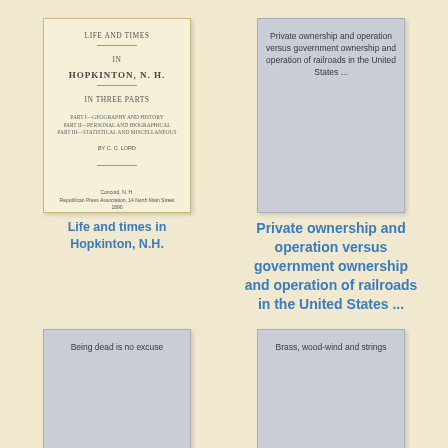[Figure (illustration): Scanned cover of a book titled 'Life and Times in Hopkinton, N.H.' with old typography, published in Concord, N.H.]
[Figure (illustration): Gray card with text 'Private ownership and operation versus government ownership and operation of railroads in the United States ...']
Life and times in Hopkinton, N.H.
Private ownership and operation versus government ownership and operation of railroads in the United States ...
[Figure (illustration): Gray card with text 'Being dead is no excuse']
[Figure (illustration): Gray card with text 'Brass, wood-wind and strings']